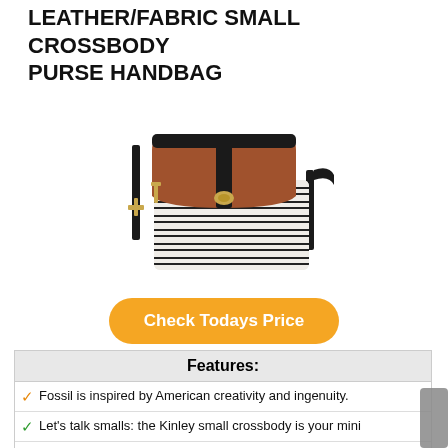LEATHER/FABRIC SMALL CROSSBODY PURSE HANDBAG
[Figure (photo): A small crossbody purse handbag with brown leather flap top and black-and-white striped fabric body, gold hardware, and a black adjustable strap.]
Check Todays Price
| Features: |
| --- |
| Fossil is inspired by American creativity and ingenuity. |
| Let's talk smalls: the Kinley small crossbody is your mini |
| Genuine Leather & Fabric Crossbody Bag; Zipper Closure |
| Exterior Details: 1 Back Slide Pocket, 1 Front Slide Pocket; |
| Measures: 8.5"W x 5.5"H x 7"D; Adjustable... |